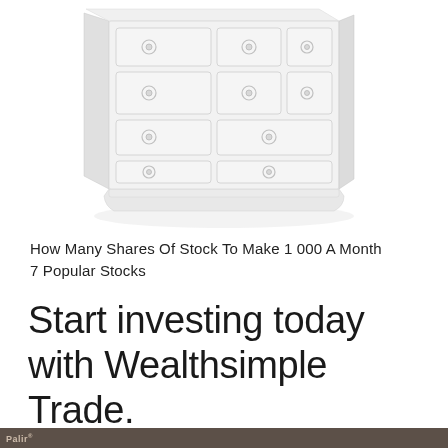[Figure (illustration): A light gray/white illustration of a chest of drawers (dresser) with multiple drawers and round knob handles, shown in a slightly angled perspective view. The image is very light/faded.]
How Many Shares Of Stock To Make 1 000 A Month 7 Popular Stocks
Start investing today with Wealthsimple Trade.
Palin